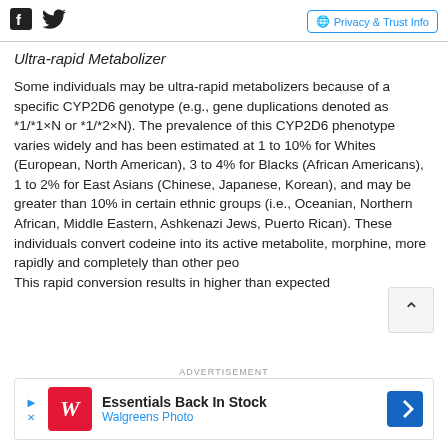Social icons (Facebook, Twitter) | Privacy & Trust Info
Ultra-rapid Metabolizer
Some individuals may be ultra-rapid metabolizers because of a specific CYP2D6 genotype (e.g., gene duplications denoted as *1/*1×N or *1/*2×N). The prevalence of this CYP2D6 phenotype varies widely and has been estimated at 1 to 10% for Whites (European, North American), 3 to 4% for Blacks (African Americans), 1 to 2% for East Asians (Chinese, Japanese, Korean), and may be greater than 10% in certain ethnic groups (i.e., Oceanian, Northern African, Middle Eastern, Ashkenazi Jews, Puerto Rican). These individuals convert codeine into its active metabolite, morphine, more rapidly and completely than other peo. This rapid conversion results in higher than expected
ADVERTISEMENT
[Figure (other): Walgreens Photo advertisement banner: Essentials Back In Stock]